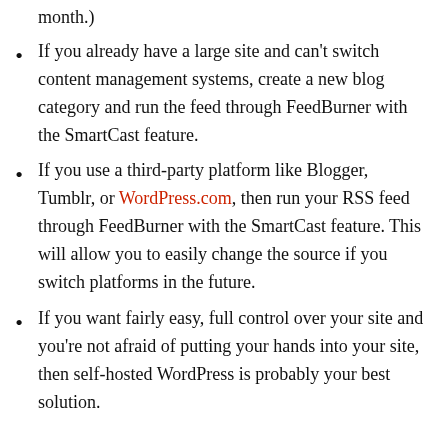month.)
If you already have a large site and can't switch content management systems, create a new blog category and run the feed through FeedBurner with the SmartCast feature.
If you use a third-party platform like Blogger, Tumblr, or WordPress.com, then run your RSS feed through FeedBurner with the SmartCast feature. This will allow you to easily change the source if you switch platforms in the future.
If you want fairly easy, full control over your site and you're not afraid of putting your hands into your site, then self-hosted WordPress is probably your best solution.